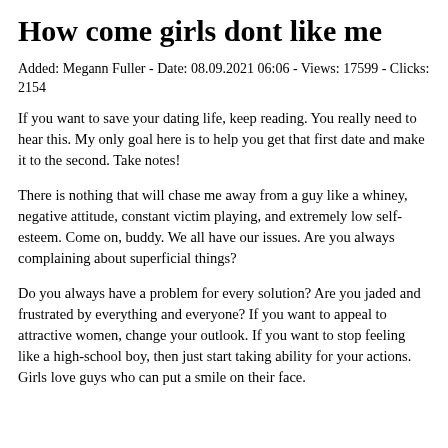How come girls dont like me
Added: Megann Fuller - Date: 08.09.2021 06:06 - Views: 17599 - Clicks: 2154
If you want to save your dating life, keep reading. You really need to hear this. My only goal here is to help you get that first date and make it to the second. Take notes!
There is nothing that will chase me away from a guy like a whiney, negative attitude, constant victim playing, and extremely low self-esteem. Come on, buddy. We all have our issues. Are you always complaining about superficial things?
Do you always have a problem for every solution? Are you jaded and frustrated by everything and everyone? If you want to appeal to attractive women, change your outlook. If you want to stop feeling like a high-school boy, then just start taking ability for your actions. Girls love guys who can put a smile on their face.